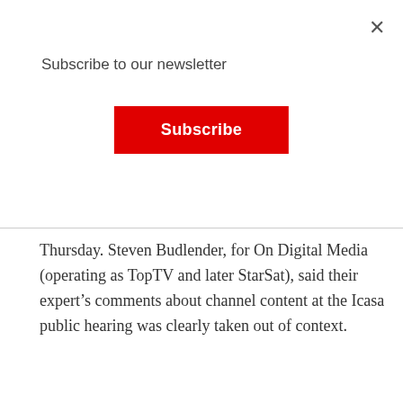×
Subscribe to our newsletter
Subscribe
Thursday. Steven Budlender, for On Digital Media (operating as TopTV and later StarSat), said their expert's comments about channel content at the Icasa public hearing was clearly taken out of context.